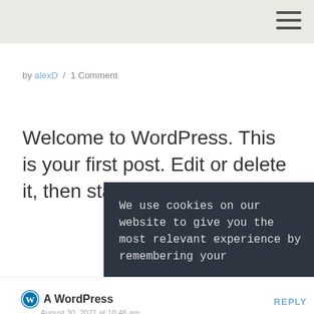by alexD / 1 Comment
Welcome to WordPress. This is your first post. Edit or delete it, then start writing!
We use cookies on our website to give you the most relevant experience by remembering your
A WordPress | August 30, 2021 at 10:46 am | REPLY